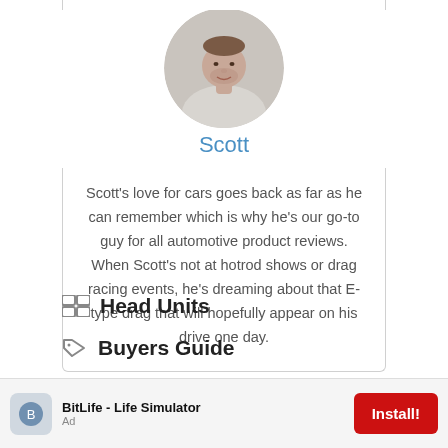[Figure (photo): Circular profile photo of Scott, a man wearing a light grey shirt, shown from chest up against a white background.]
Scott
Scott's love for cars goes back as far as he can remember which is why he's our go-to guy for all automotive product reviews. When Scott's not at hotrod shows or drag racing events, he's dreaming about that E-type drag that will hopefully appear on his drive one day.
Head Units
Buyers Guide
How To Clean a CD Player In a Car
BitLife - Life Simulator
Install!
Ad